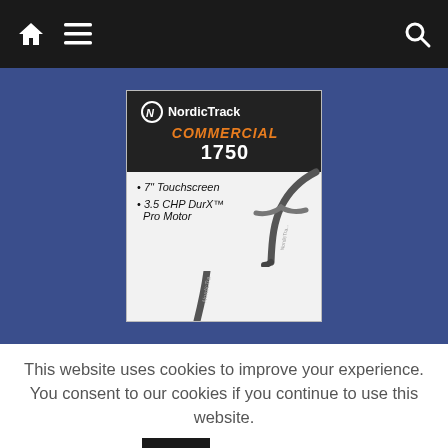Navigation bar with home, menu, and search icons
[Figure (photo): NordicTrack Commercial 1750 treadmill advertisement. Dark header with NordicTrack logo, 'COMMERCIAL' in orange italic text, '1750' in white. Features listed: 7" Touchscreen, 3.5 CHP DurX™ Pro Motor. Image of treadmill handlebar visible.]
This website uses cookies to improve your experience. You consent to our cookies if you continue to use this website.
OK   Read More